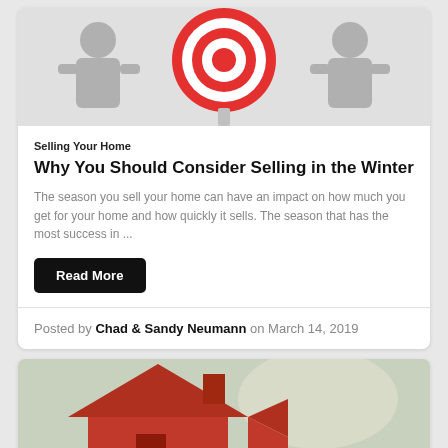[Figure (photo): People figures with red and white target/bullseye graphic in background, gray illustration style]
Selling Your Home
Why You Should Consider Selling in the Winter
The season you sell your home can have an impact on how much you get for your home and how quickly it sells. The season that has the most success in ...
Read More
Posted by Chad & Sandy Neumann on March 14, 2019
[Figure (photo): Red house silhouette graphic against blurred interior background]